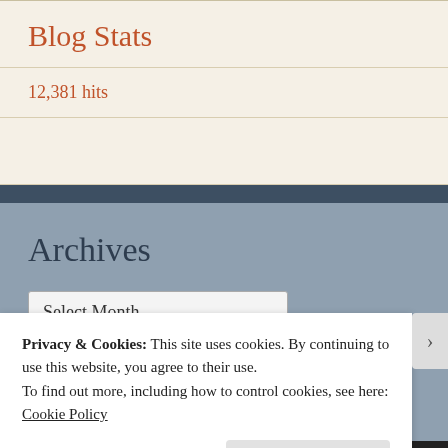Blog Stats
12,381 hits
Archives
Select Month
Privacy & Cookies: This site uses cookies. By continuing to use this website, you agree to their use.
To find out more, including how to control cookies, see here:
Cookie Policy
Close and accept